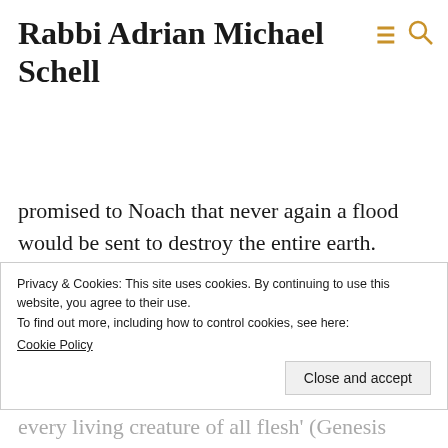Rabbi Adrian Michael Schell
a large boat, the Ark, sufficient in size to and all the creatures. After the flood, those aboard the Ark started a new life on earth all over again, and God promised to Noach that never again a flood would be sent to destroy the entire earth.
Having saved Noach and his family, God enters into a new covenant with humanity. This includes the prohibition against eating live flesh (Genesis 9:4), the law against shedding another person’s blood (Genesis 9:6) and the instruction to be fruitful and multiply (Genesis
covenant entered into with Noach, not only for us, but also for God, who will see the rainbow. ‘And I will remember my covenant, which is between me and you and every living creature of all flesh’ (Genesis
Privacy & Cookies: This site uses cookies. By continuing to use this website, you agree to their use.
To find out more, including how to control cookies, see here: Cookie Policy